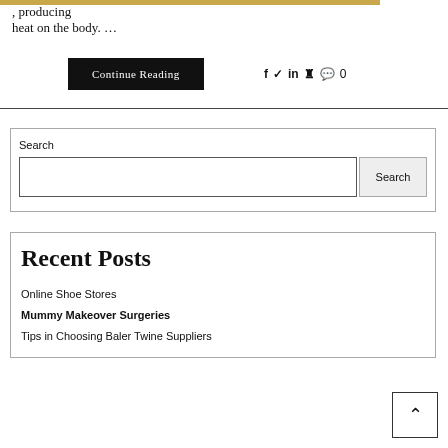, producing heat on the body. …
Continue Reading
f ❤ in p 💬 0
Search
Recent Posts
Online Shoe Stores
Mummy Makeover Surgeries
Tips in Choosing Baler Twine Suppliers